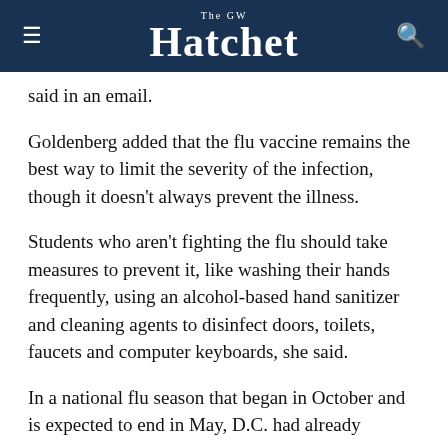The GW Hatchet
said in an email.
Goldenberg added that the flu vaccine remains the best way to limit the severity of the infection, though it doesn't always prevent the illness.
Students who aren't fighting the flu should take measures to prevent it, like washing their hands frequently, using an alcohol-based hand sanitizer and cleaning agents to disinfect doors, toilets, faucets and computer keyboards, she said.
In a national flu season that began in October and is expected to end in May, D.C. had already